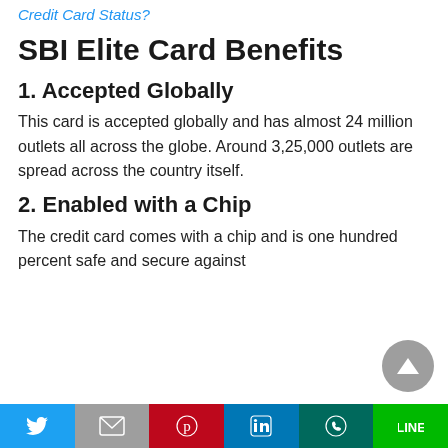Credit Card Status?
SBI Elite Card Benefits
1. Accepted Globally
This card is accepted globally and has almost 24 million outlets all across the globe. Around 3,25,000 outlets are spread across the country itself.
2. Enabled with a Chip
The credit card comes with a chip and is one hundred percent safe and secure against